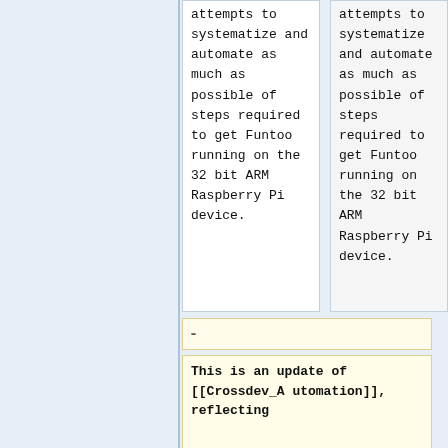It attempts to systematize and automate as much as possible of steps required to get Funtoo running on the 32 bit ARM Raspberry Pi device.
It attempts to systematize and automate as much as possible of steps required to get Funtoo running on the 32 bit ARM Raspberry Pi device.
-
This is an update of [[Crossdev_Automation]], reflecting